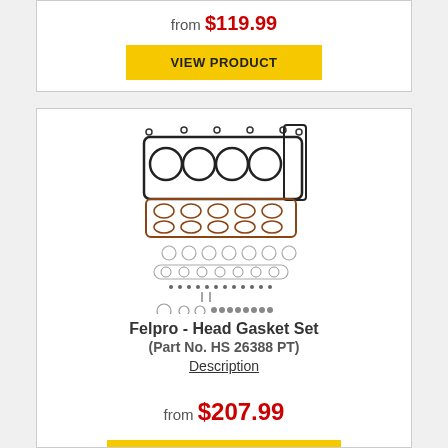from $119.99
VIEW PRODUCT
[Figure (photo): Felpro Head Gasket Set product image showing multiple gasket components including head gasket, valve cover gasket, and various seals]
Felpro - Head Gasket Set (Part No. HS 26388 PT)
Description
from $207.99
VIEW PRODUCT